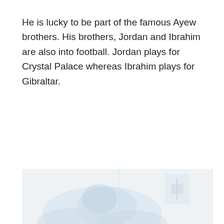He is lucky to be part of the famous Ayew brothers. His brothers, Jordan and Ibrahim are also into football. Jordan plays for Crystal Palace whereas Ibrahim plays for Gibraltar.
[Figure (photo): A partially visible photograph at the bottom of the page, showing faded/washed out figures, appears to be a sports-related image with a light blue and white color scheme.]